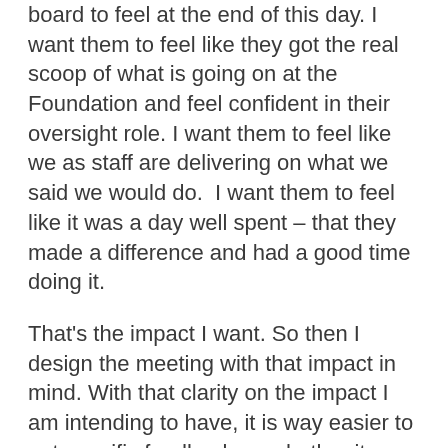board to feel at the end of this day. I want them to feel like they got the real scoop of what is going on at the Foundation and feel confident in their oversight role. I want them to feel like we as staff are delivering on what we said we would do.  I want them to feel like it was a day well spent – that they made a difference and had a good time doing it.
That's the impact I want. So then I design the meeting with that impact in mind. With that clarity on the impact I am intending to have, it is way easier to get specific feedback on whether it worked.
It's a simple little mental exercise. But explicitly working backward from the